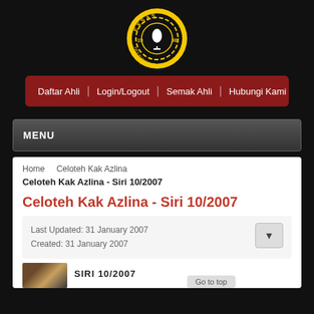[Figure (logo): EXSAS circular logo with yellow/gold border, black background, gear design, text '1998' and 'HIDUP BERJASA']
Daftar Ahli | Login/Logout | Semak Ahli | Hubungi Kami
MENU
Home   Celoteh Kak Azlina
Celoteh Kak Azlina - Siri 10/2007
Celoteh Kak Azlina - Siri 10/2007
Last Updated: 31 January 2007
Created: 31 January 2007
[Figure (photo): Partial thumbnail image at bottom of page]
SIRI 10/2007